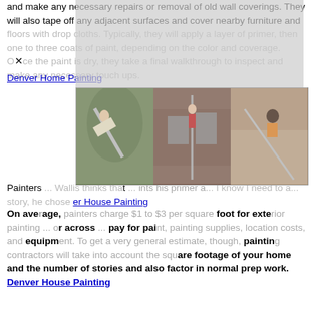and make any necessary repairs or removal of old wall coverings. They will also tape off any adjacent surfaces and cover nearby furniture and floors with drop cloths. Typically, they will apply a layer of primer, then one to three coats of paint, depending on the color and coverage. Once the paint is dry, they take a final walkthrough to inspect and make any necessary touch ups.
Denver Home Painting
[Figure (photo): Three photos showing people painting the exterior of houses, with ladders and painting equipment.]
Painters ... Wallis thinks that ... ints his primer a ... I know I need to a ... story, he chose ... er House Painting
On average, painters charge $1 to $3 per square foot for exterior painting ... or across ... pay for paint, painting supplies, location costs, and equipment. To get a very general estimate, though, painting contractors will take into account the square footage of your home and the number of stories and also factor in normal prep work. Denver House Painting